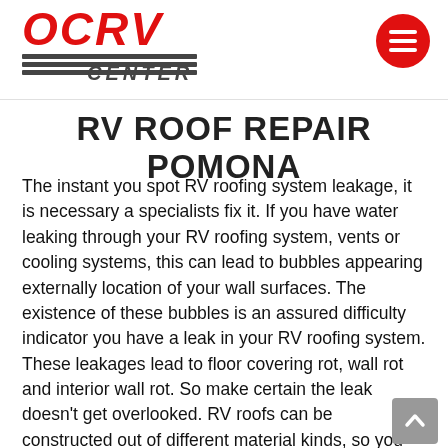[Figure (logo): OCRV Center logo with red italic letters and horizontal stripes, plus red circular hamburger menu button in top right]
RV ROOF REPAIR POMONA
The instant you spot RV roofing system leakage, it is necessary a specialists fix it. If you have water leaking through your RV roofing system, vents or cooling systems, this can lead to bubbles appearing externally location of your wall surfaces. The existence of these bubbles is an assured difficulty indicator you have a leak in your RV roofing system. These leakages lead to floor covering rot, wall rot and interior wall rot. So make certain the leak doesn’t get overlooked. RV roofs can be constructed out of different material kinds, so you have to fix the issue with lengthy life cycle techniques. When inaccurate items are used, irreparable damage can occur, and you may trigger entire change the entire RV roofing system. Visually inspecting your roofing isn’t reliable sufficient to comprehend which type of rubber roofing system you